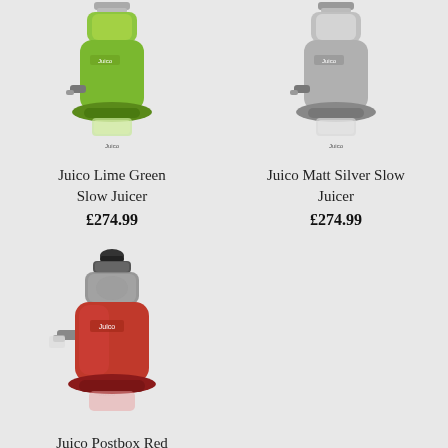[Figure (photo): Juico Lime Green Slow Juicer product image, green colored juicer]
[Figure (photo): Juico Matt Silver Slow Juicer product image, silver colored juicer]
Juico Lime Green Slow Juicer
£274.99
Juico Matt Silver Slow Juicer
£274.99
[Figure (photo): Juico Postbox Red Slow Juicer product image, red colored juicer]
Juico Postbox Red Slow Juicer
£274.99